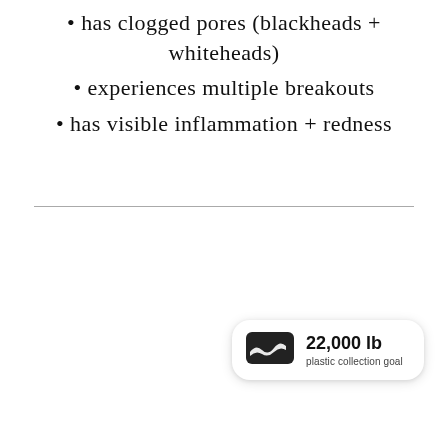has clogged pores (blackheads + whiteheads)
experiences multiple breakouts
has visible inflammation + redness
[Figure (infographic): Badge widget showing '22,000 lb plastic collection goal' with a wave/ocean icon on a white rounded rectangle card with drop shadow]